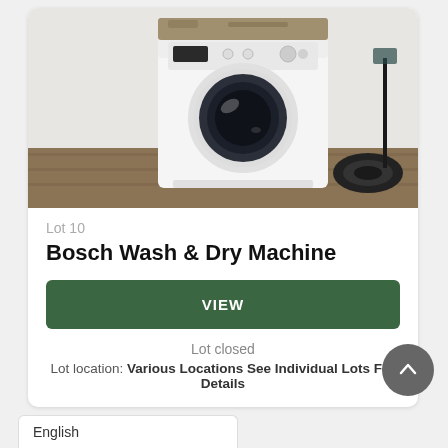[Figure (photo): Photo of a white Bosch front-loading washing machine on a wooden floor. The machine has a dark circular door porthole. On top of the machine is a dirty/stained object. To the right is a black floor lamp and a tire.]
Lot 10
Bosch Wash & Dry Machine
VIEW
Lot closed
Lot location: Various Locations See Individual Lots For Details
English